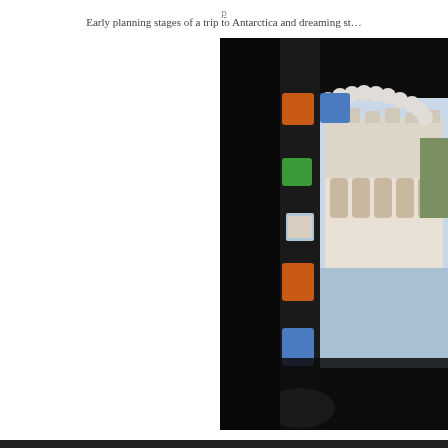Early planning stages of a trip to Antarctica and dreaming st…
Early planning stages of a trip to Antarctica and dreaming st…
[Figure (photo): Dark interior of a room with a decorative window/screen featuring colored glass panes (orange, blue, green) and a scalloped arch cutout. Through the opening, a white palatial building on water (likely Lake Palace, Udaipur) is visible with reflections on the lake.]